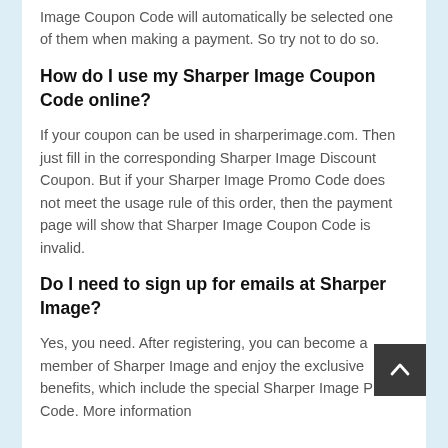Image Coupon Code will automatically be selected one of them when making a payment. So try not to do so.
How do I use my Sharper Image Coupon Code online?
If your coupon can be used in sharperimage.com. Then just fill in the corresponding Sharper Image Discount Coupon. But if your Sharper Image Promo Code does not meet the usage rule of this order, then the payment page will show that Sharper Image Coupon Code is invalid.
Do I need to sign up for emails at Sharper Image?
Yes, you need. After registering, you can become a member of Sharper Image and enjoy the exclusive benefits, which include the special Sharper Image Promo Code. More information